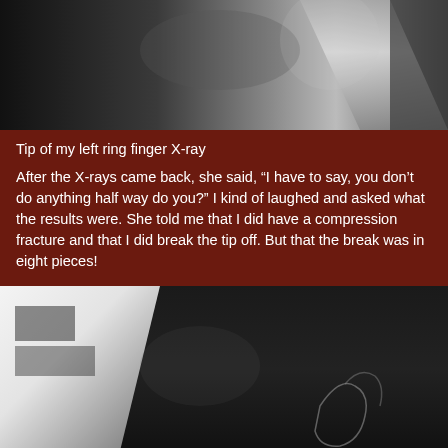[Figure (photo): X-ray image of a finger tip, showing bone structure against dark background]
Tip of my left ring finger X-ray
After the X-rays came back, she said, “I have to say, you don’t do anything half way do you?” I kind of laughed and asked what the results were. She told me that I did have a compression fracture and that I did break the tip off. But that the break was in eight pieces!
[Figure (photo): Another X-ray image showing a finger with bone structure, dark background with bright white areas and a faint outline of a hand/finger]
[Figure (infographic): Social media share buttons bar: Facebook, Twitter, WhatsApp, Phone, SMS, Snapchat, Email, Gmail, Outlook]